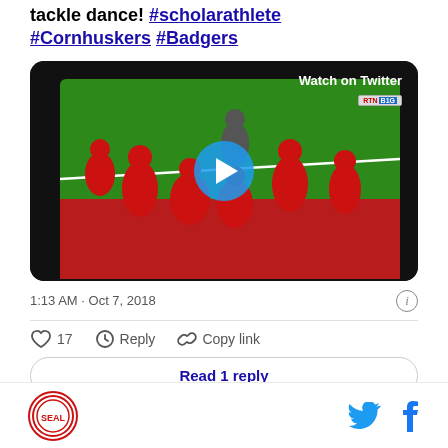tackle dance! #scholarathlete #Cornhuskers #Badgers
[Figure (screenshot): Embedded Twitter video thumbnail showing a football game scene with players on a green field with red end zone, overlaid with a blue circular play button and 'Watch on Twitter' label in the top right corner]
1:13 AM · Oct 7, 2018
♡ 17  Reply  Copy link
Read 1 reply
[Figure (logo): Red circular logo/seal on the left, Twitter bird icon and Facebook 'f' icon on the right]